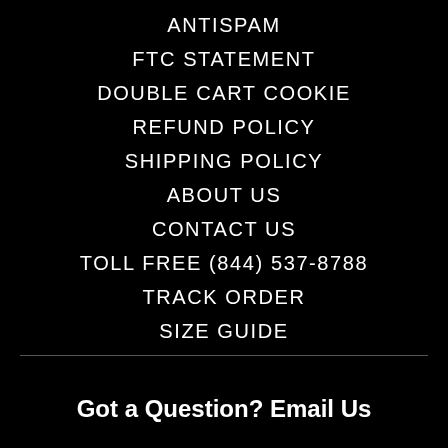ANTISPAM
FTC STATEMENT
DOUBLE CART COOKIE
REFUND POLICY
SHIPPING POLICY
ABOUT US
CONTACT US
TOLL FREE (844) 537-8788
TRACK ORDER
SIZE GUIDE
Got a Question? Email Us